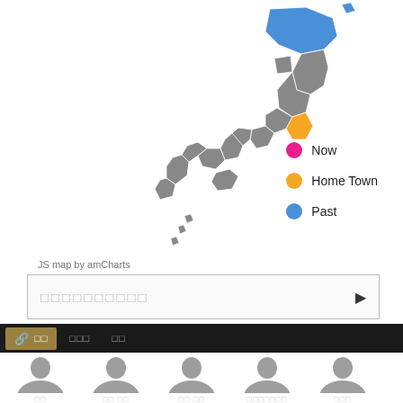[Figure (map): Map of Japan with prefectures shown in gray. One prefecture in northern Honshu (Tohoku region) is highlighted in blue (Past), and one prefecture in central Honshu (around Tokyo) is highlighted in orange (Home Town). No prefecture highlighted in pink (Now).]
Now
Home Town
Past
JS map by amCharts
□□□□□□□□□□
□□  □□□  □□  □□□□□□□  □□□
[Figure (photo): Silhouette placeholder profile photo 1 - label: □□]
[Figure (photo): Silhouette placeholder profile photo 2 - label: □□ □□]
[Figure (photo): Silhouette placeholder profile photo 3 - label: □□ □□]
[Figure (photo): Silhouette placeholder profile photo 4 - label: □□□□□□□]
[Figure (photo): Silhouette placeholder profile photo 5 - label: □□□]